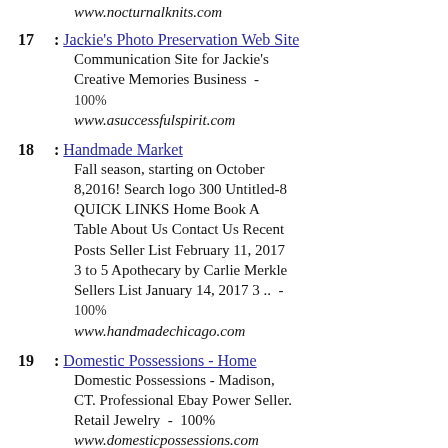www.nocturnalknits.com
17: Jackie's Photo Preservation Web Site - Communication Site for Jackie's Creative Memories Business - 100% www.asuccessfulspirit.com
18: Handmade Market - Fall season, starting on October 8,2016! Search logo 300 Untitled-8 QUICK LINKS Home Book A Table About Us Contact Us Recent Posts Seller List February 11, 2017 3 to 5 Apothecary by Carlie Merkle Sellers List January 14, 2017 3 .. - 100% www.handmadechicago.com
19: Domestic Possessions - Home - Domestic Possessions - Madison, CT. Professional Ebay Power Seller. Retail Jewelry - 100% www.domesticpossessions.com
20: Craft Kits, Tackle-it, DIY, Speckles